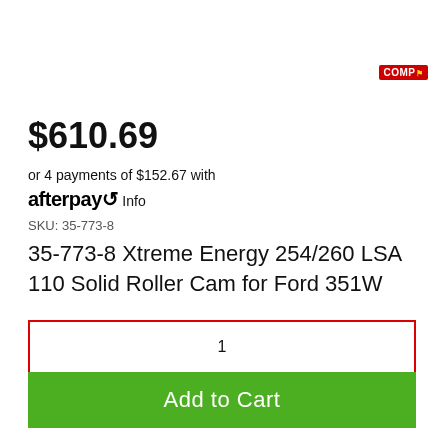[Figure (logo): COMP Cams logo — red rectangular badge with white text 'COMP' and a small racing flag icon]
$610.69
or 4 payments of $152.67 with afterpay Info
SKU: 35-773-8
35-773-8 Xtreme Energy 254/260 LSA 110 Solid Roller Cam for Ford 351W
1
Add to Cart